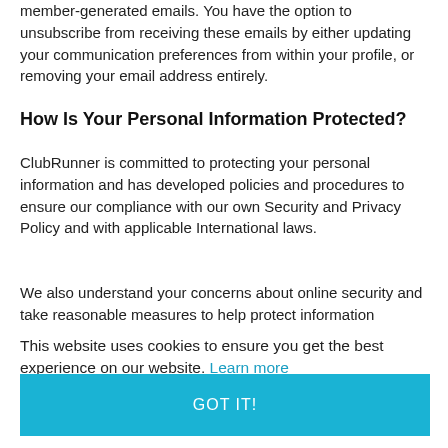member-generated emails. You have the option to unsubscribe from receiving these emails by either updating your communication preferences from within your profile, or removing your email address entirely.
How Is Your Personal Information Protected?
ClubRunner is committed to protecting your personal information and has developed policies and procedures to ensure our compliance with our own Security and Privacy Policy and with applicable International laws.
We also understand your concerns about online security and take reasonable measures to help protect information
This website uses cookies to ensure you get the best experience on our website. Learn more
GOT IT!